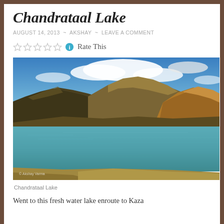Chandrataal Lake
AUGUST 14, 2013 ~ AKSHAY ~ LEAVE A COMMENT
Rate This
[Figure (photo): Chandrataal Lake - a high altitude lake with clear turquoise water in the foreground, brown and golden mountains in the background, and a blue sky with white clouds above.]
Chandrataal Lake
Went to this fresh water lake enroute to Kaza